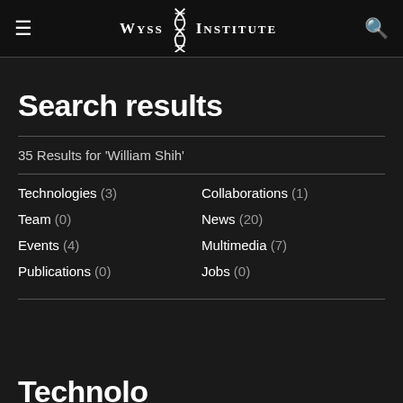Wyss Institute
Search results
35 Results for 'William Shih'
Technologies (3)
Team (0)
Events (4)
Publications (0)
Collaborations (1)
News (20)
Multimedia (7)
Jobs (0)